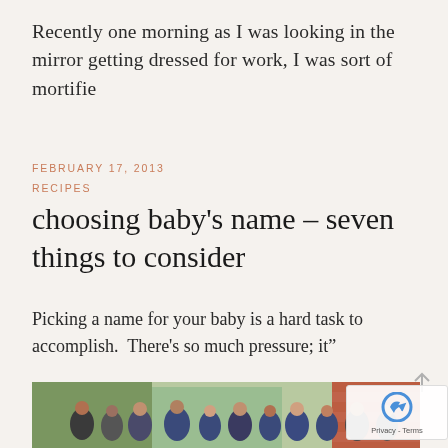Recently one morning as I was looking in the mirror getting dressed for work, I was sort of mortifie
FEBRUARY 17, 2013
RECIPES
choosing baby's name – seven things to consider
Picking a name for your baby is a hard task to accomplish.  There's so much pressure; it&#821
[Figure (photo): Group photo of approximately 12 people standing outdoors in front of a brick wall and green wall, most wearing blue jackets]